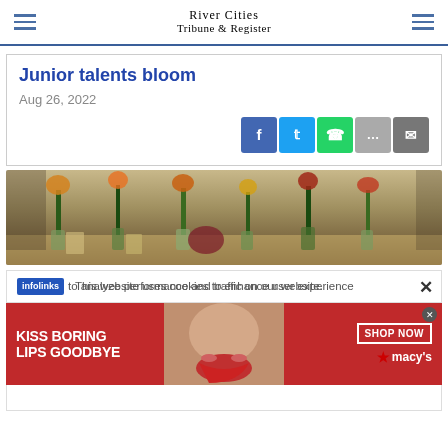River Cities Tribune & Register
Junior talents bloom
Aug 26, 2022
[Figure (photo): Photo of floral arrangements and plant displays on a table at what appears to be a junior talent or flower show event]
This website uses cookies to enhance user experience and to analyze performance and traffic on our website.
[Figure (advertisement): Macy's advertisement: KISS BORING LIPS GOODBYE with SHOP NOW button, featuring a woman's face with red lips]